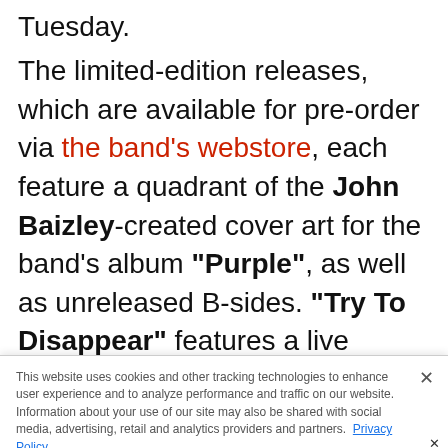Tuesday.
The limited-edition releases, which are available for pre-order via the band's webstore, each feature a quadrant of the John Baizley-created cover art for the band's album "Purple", as well as unreleased B-sides. "Try To Disappear" features a live version of the song from the band's 2016 performance at Los Angeles's Fonda Theatre
This website uses cookies and other tracking technologies to enhance user experience and to analyze performance and traffic on our website. Information about your use of our site may also be shared with social media, advertising, retail and analytics providers and partners. Privacy Policy
[Figure (screenshot): Advertisement banner for Alter Bridge 'Paws & Kings' tour with Mammoth WVH, promoting 'GET TICKETS NOW']